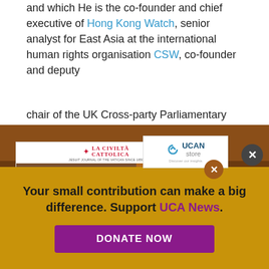and which He is the co-founder and chief executive of Hong Kong Watch, senior analyst for East Asia at the international human rights organisation CSW, co-founder and deputy chair of the UK Cross-party Parliamentary Human Rights ...ry ...s, His ...urma to
[Figure (photo): La Civilta Cattolica magazine photo showing Pope Francis with priests/clergy group photo, with UCAN Store popup overlay and Special Ebooks sidebar]
Your small contribution can make a big difference. Support UCA News.
DONATE NOW